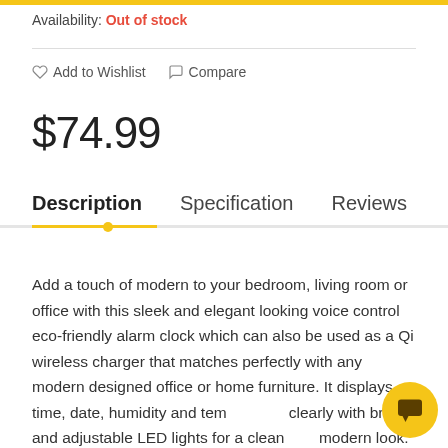Availability: Out of stock
♡ Add to Wishlist  ↻ Compare
$74.99
Description   Specification   Reviews
Add a touch of modern to your bedroom, living room or office with this sleek and elegant looking voice control eco-friendly alarm clock which can also be used as a Qi wireless charger that matches perfectly with any modern designed office or home furniture. It displays time, date, humidity and temperature clearly with bright and adjustable LED lights for a clean modern look. You can set up to 3 alarms in a few minutes